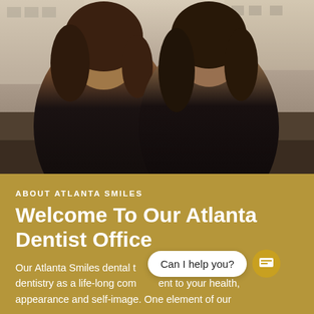[Figure (photo): Two women smiling, dressed in black outfits, posing together outdoors. Background shows a building and greenery.]
ABOUT ATLANTA SMILES
Welcome To Our Atlanta Dentist Office
Our Atlanta Smiles dental team believes in comprehensive dentistry as a life-long commitment to your health, appearance and self-image. One element of our